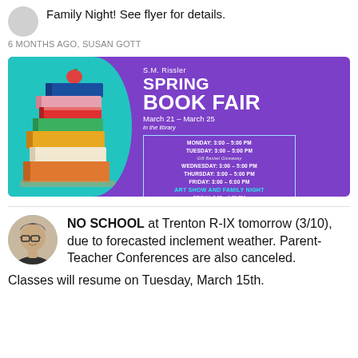Family Night! See flyer for details.
6 MONTHS AGO, SUSAN GOTT
[Figure (infographic): S.M. Rissler Spring Book Fair flyer. Purple and teal background with stacked books on the left. Text: S.M. Rissler SPRING BOOK FAIR March 21 - March 25 in the library. Schedule box: MONDAY: 3:00 - 5:00 PM, TUESDAY: 3:00 - 5:00 PM, Gift Basket Giveaway, WEDNESDAY: 3:00 - 5:00 PM, THURSDAY: 3:00 - 5:00 PM, FRIDAY: 3:00 - 6:00 PM, ART SHOW AND FAMILY NIGHT, FRIDAY: 5:00 - 6:00 PM]
NO SCHOOL at Trenton R-IX tomorrow (3/10), due to forecasted inclement weather. Parent-Teacher Conferences are also canceled. Classes will resume on Tuesday, March 15th.